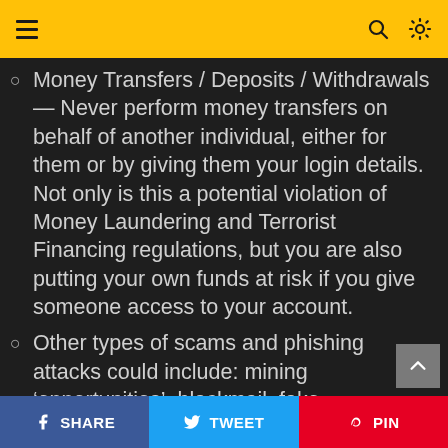[Navigation bar with menu icon, search icon, brightness icon]
Money Transfers / Deposits / Withdrawals— Never perform money transfers on behalf of another individual, either for them or by giving them your login details. Not only is this a potential violation of Money Laundering and Terrorist Financing regulations, but you are also putting your own funds at risk if you give someone access to your account.
Other types of scams and phishing attacks could include: mining ‘opportunities’, blackmail, fake exchanges, malware, and “pump and dump” schemes, offers to invest in non-existent businesses, etc.
SHARE  TWEET  PIN